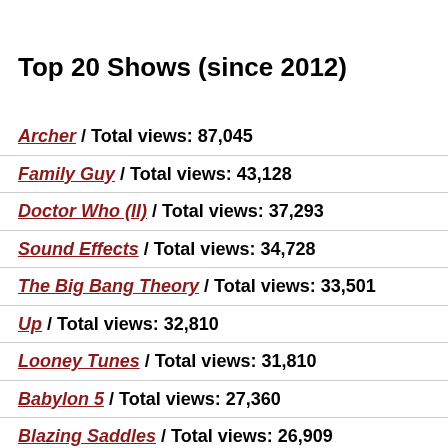Top 20 Shows (since 2012)
Archer / Total views: 87,045
Family Guy / Total views: 43,128
Doctor Who (II) / Total views: 37,293
Sound Effects / Total views: 34,728
The Big Bang Theory / Total views: 33,501
Up / Total views: 32,810
Looney Tunes / Total views: 31,810
Babylon 5 / Total views: 27,360
Blazing Saddles / Total views: 26,909